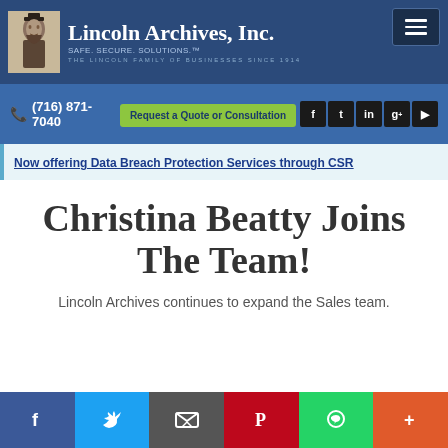[Figure (logo): Lincoln Archives Inc. logo banner with Abraham Lincoln portrait, company name, tagline SAFE. SECURE. SOLUTIONS. and subtitle THE LINCOLN FAMILY OF BUSINESSES SINCE 1914]
(716) 871-7040
Request a Quote or Consultation
Now offering Data Breach Protection Services through CSR
Christina Beatty Joins The Team!
Lincoln Archives continues to expand the Sales team.
[Figure (infographic): Social share bar with Facebook, Twitter, Email, Pinterest, WhatsApp, and More (+) buttons]